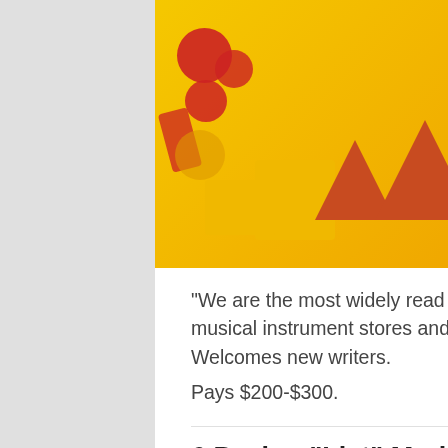[Figure (illustration): Magazine cover with yellow/gold holiday background showing ornaments, candy canes, gift boxes, and colorful trees. Text reads 'PUT A BOW ON IT - The Music & Sound Retailer's Annual Holiday Sales Guide' and '15th Annual Independent Retailer Roundtable'.]
“We are the most widely read trade publication serving brick-and-mortar musical instrument stores and their owners, managers and buyers.” Welcomes new writers.
Pays $200-$300.
6 Paying “List” Markets for Writers! – by Tatiana Claudy
Published on April 1, 2022
[Figure (illustration): Teal/cyan colored image, partially visible at bottom of page.]